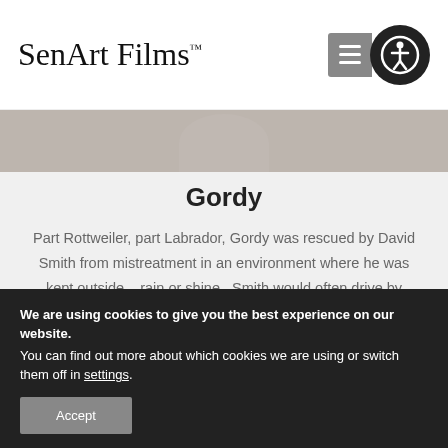SenArt Films™
[Figure (photo): Partial view of a dog photo (cropped circular/oval portrait) at top of content card]
Gordy
Part Rottweiler, part Labrador, Gordy was rescued by David Smith from mistreatment in an environment where he was kept outside – rain or shine.  Smith would often drive by Gordy's home, witnessing firsthand his neglect and abuse.  He eventually befriended Gordy (and his owners) and
We are using cookies to give you the best experience on our website.
You can find out more about which cookies we are using or switch them off in settings.
Accept